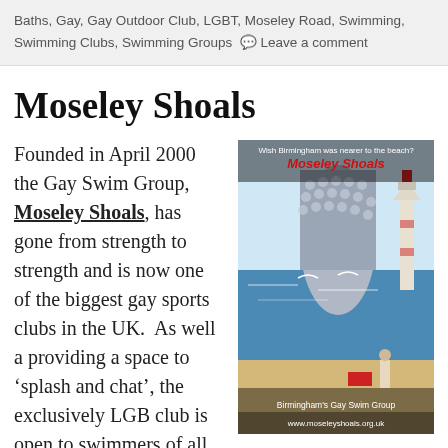Baths, Gay, Gay Outdoor Club, LGBT, Moseley Road, Swimming, Swimming Clubs, Swimming Groups 💬 Leave a comment
Moseley Shoals
[Figure (photo): Promotional image for Moseley Shoals Birmingham's Gay Swim Group showing a beach scene with a distinctive curved building, lighthouse, and text overlay reading 'Wish Birmingham was nearer to the beach? Moseley Shoals Birmingham's Gay Swim Group www.moseleyshoals.org.uk']
Founded in April 2000 the Gay Swim Group, Moseley Shoals, has gone from strength to strength and is now one of the biggest gay sports clubs in the UK.  As well a providing a space to 'splash and chat', the exclusively LGB club is open to swimmers of all abilities and offers the opportunity for swim coaching and competition standard swimming